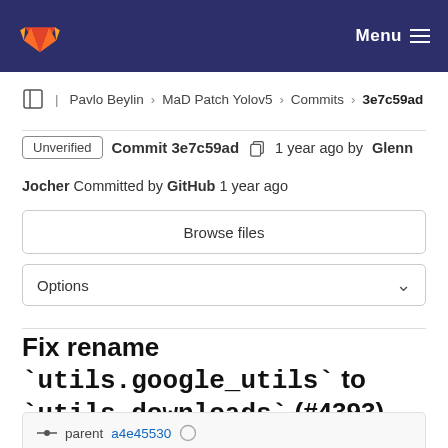GitLab Menu
Pavlo Beylin › MaD Patch Yolov5 › Commits › 3e7c59ad
Unverified Commit 3e7c59ad 1 year ago by Glenn Jocher Committed by GitHub 1 year ago
Browse files
Options
Fix rename `utils.google_utils` to `utils.downloads` (#4393)
parent a4e45530